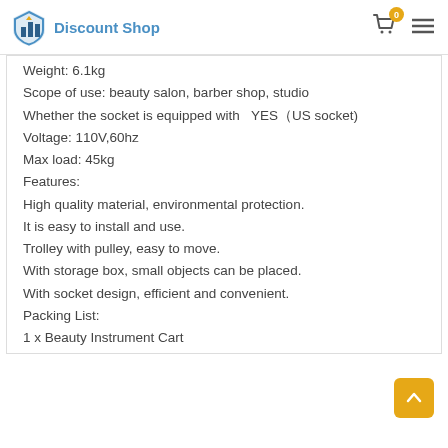Discount Shop
Weight: 6.1kg
Scope of use: beauty salon, barber shop, studio
Whether the socket is equipped with  YES（US socket)
Voltage: 110V,60hz
Max load: 45kg
Features:
High quality material, environmental protection.
It is easy to install and use.
Trolley with pulley, easy to move.
With storage box, small objects can be placed.
With socket design, efficient and convenient.
Packing List:
1 x Beauty Instrument Cart